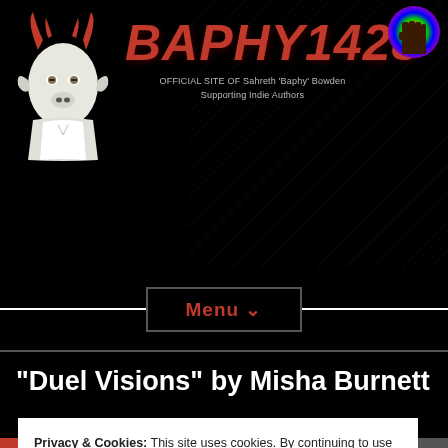[Figure (logo): Baphy1428 site header with goat logo, large red BAPHY1428 title text, subtitle text, and rainbow fist icon]
OFFICIAL SITE OF Sahreth 'Baphy' Bowden
Supporting Indie Authors
Menu ❯
“Duel Visions” by Misha Burnett
Privacy & Cookies: This site uses cookies. By continuing to use this website, you agree to their use.
To find out more, including how to control cookies, see here: Cookie Policy
Close and accept